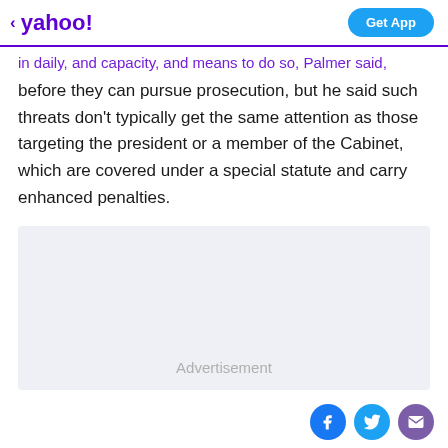< yahoo!  Get App
in daily, and capacity, and means to do so, Palmer said, before they can pursue prosecution, but he said such threats don't typically get the same attention as those targeting the president or a member of the Cabinet, which are covered under a special statute and carry enhanced penalties.
[Figure (other): Advertisement placeholder box with light gray background and 'Advertisement' label]
Social share icons: Facebook, Twitter, Email